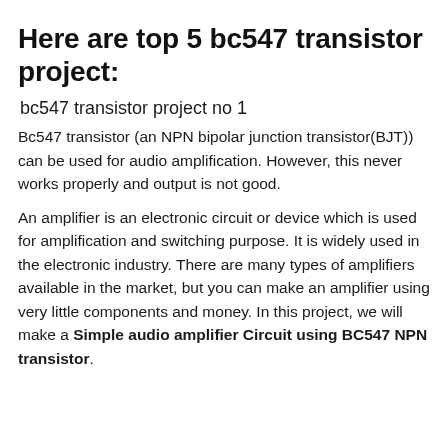Here are top 5 bc547 transistor project:
bc547 transistor project no 1
Bc547 transistor (an NPN bipolar junction transistor(BJT)) can be used for audio amplification. However, this never works properly and output is not good.
An amplifier is an electronic circuit or device which is used for amplification and switching purpose. It is widely used in the electronic industry. There are many types of amplifiers available in the market, but you can make an amplifier using very little components and money. In this project, we will make a Simple audio amplifier Circuit using BC547 NPN transistor.